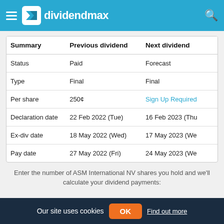dividendmax
| Summary | Previous dividend | Next dividend |
| --- | --- | --- |
| Status | Paid | Forecast |
| Type | Final | Final |
| Per share | 250¢ | Sign Up Required |
| Declaration date | 22 Feb 2022 (Tue) | 16 Feb 2023 (Thu |
| Ex-div date | 18 May 2022 (Wed) | 17 May 2023 (We |
| Pay date | 27 May 2022 (Fri) | 24 May 2023 (We |
Enter the number of ASM International NV shares you hold and we'll calculate your dividend payments:
Our site uses cookies  OK  Find out more